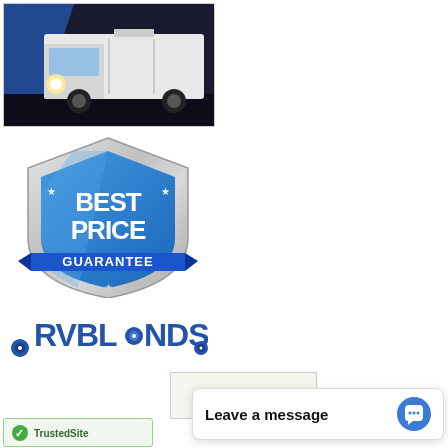[Figure (photo): White motorhome/RV truck with blue diagonal stripe design, photographed at night/dusk with headlights on]
[Figure (logo): Best Price Guarantee badge - blue and silver shield with stars and ribbon, text BEST PRICE GUARANTEE]
[Figure (logo): RVBlinds logo - blue bold text RVBLINDS with wheel icons on either side of the I]
[Figure (screenshot): Amazon logo partial view in a box]
[Figure (screenshot): Chat widget with text Leave a message and blue circular chat icon]
[Figure (logo): Trusted Site or similar green badge/logo partially visible]